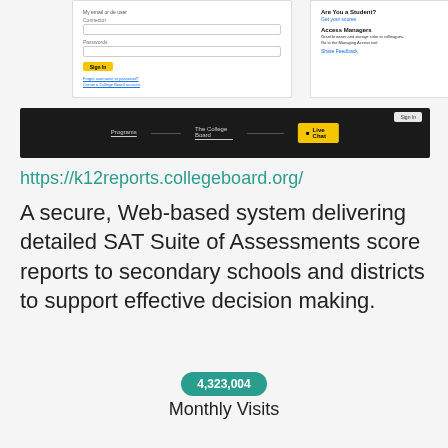[Figure (screenshot): Screenshot of College Board k12reports login page showing username/password fields and sign-in button, with 'Are You a Student?' and 'Access Managers' sidebar content]
[Figure (screenshot): Screenshot of College Board website navigation bar in dark/black color with Programs, The College Board links and a yellow Live Chat button]
https://k12reports.collegeboard.org/
A secure, Web-based system delivering detailed SAT Suite of Assessments score reports to secondary schools and districts to support effective decision making.
4,323,004
Monthly Visits
US
Popular in
UP
Service Status
15h ago
Last Checked